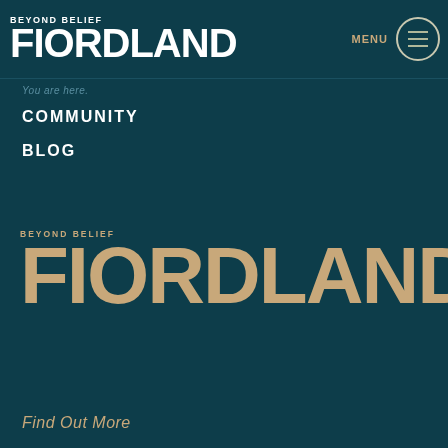[Figure (logo): Beyond Belief Fiordland logo in white, top left header]
MENU
[Figure (illustration): Hamburger menu icon inside a circle, top right]
You are here.
COMMUNITY
BLOG
[Figure (logo): Beyond Belief Fiordland logo in tan/beige, large, lower half of page]
Find Out More